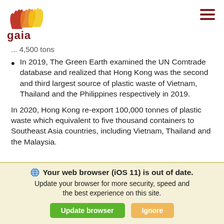gaia [logo with hands]
4,500 tons
In 2019, The Green Earth examined the UN Comtrade database and realized that Hong Kong was the second and third largest source of plastic waste of Vietnam, Thailand and the Philippines respectively in 2019.
In 2020, Hong Kong re-export 100,000 tonnes of plastic waste which equivalent to five thousand containers to Southeast Asia countries, including Vietnam, Thailand and the Malaysia.
Your web browser (iOS 11) is out of date. Update your browser for more security, speed and the best experience on this site.